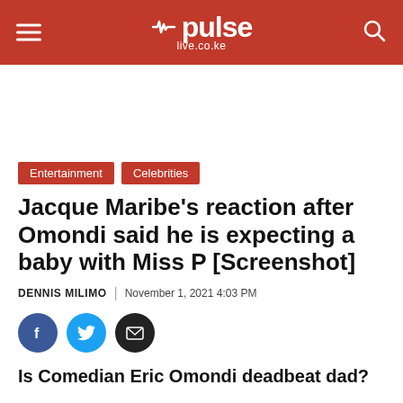pulse live.co.ke
[Figure (other): Advertisement space / blank white area]
Entertainment   Celebrities
Jacque Maribe's reaction after Omondi said he is expecting a baby with Miss P [Screenshot]
DENNIS MILIMO | November 1, 2021 4:03 PM
[Figure (other): Social share icons: Facebook (blue), Twitter (light blue), Email (black)]
Is Comedian Eric Omondi deadbeat dad?